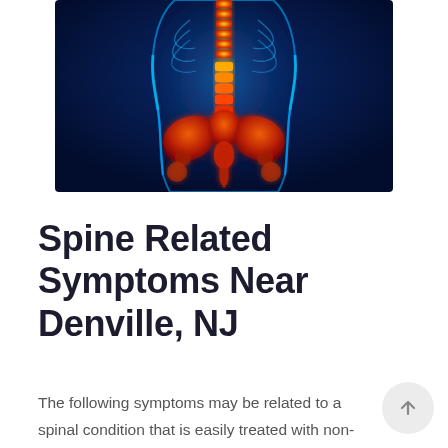[Figure (illustration): Medical illustration showing a posterior view of the human spine and pelvis highlighted in orange/red against a blue X-ray style body silhouette, emphasizing the lumbar spine and sacral region.]
Spine Related Symptoms Near Denville, NJ
The following symptoms may be related to a spinal condition that is easily treated with non-operative protocols, however, if pain persists, a surgical procedure can provide a long-standing